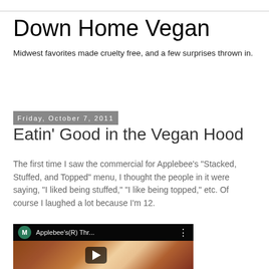Down Home Vegan
Midwest favorites made cruelty free, and a few surprises thrown in.
Friday, October 7, 2011
Eatin' Good in the Vegan Hood
The first time I saw the commercial for Applebee's "Stacked, Stuffed, and Topped" menu, I thought the people in it were saying, "I liked being stuffed," "I like being topped," etc. Of course I laughed a lot because I'm 12.
[Figure (screenshot): YouTube video thumbnail showing Applebee's(R) Thr... with a green avatar letter M on the left, three-dot menu on the right, and food imagery below with a play button overlay]